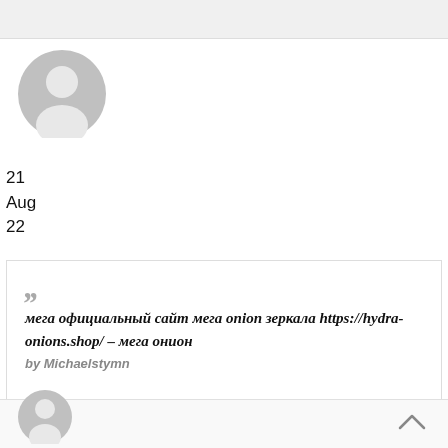[Figure (illustration): Generic grey user avatar icon (circle with person silhouette)]
21
Aug
22
““ мега официальный сайт мега onion зеркала https://hydra-onions.shop/ – мега онион
by Michaelstymn